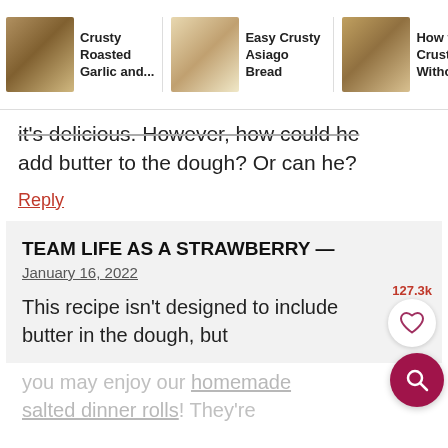[Figure (screenshot): Navigation bar with three bread recipe thumbnails and titles: 'Crusty Roasted Garlic and...', 'Easy Crusty Asiago Bread', 'How to M... Crust... Br... Without a']
it's delicious. However, how could he add butter to the dough? Or can he?
Reply
TEAM LIFE AS A STRAWBERRY —
January 16, 2022
127.3k
This recipe isn't designed to include butter in the dough, but
you may enjoy our homemade salted dinner rolls! They're